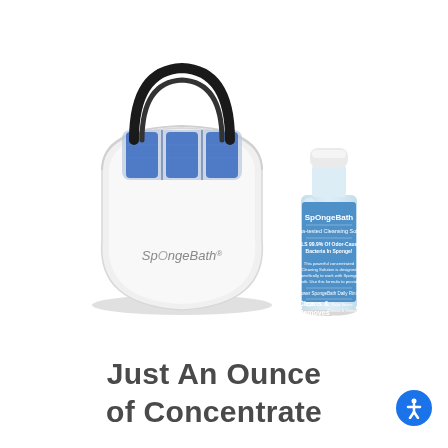[Figure (photo): Product photo showing a white SpongeBath device (a compact sponge holder/dispenser with black handles and blue sponges) alongside a clear bottle with a blue label reading 'SpOngeBath' cleaning solution.]
Just An Ounce of Concentrate